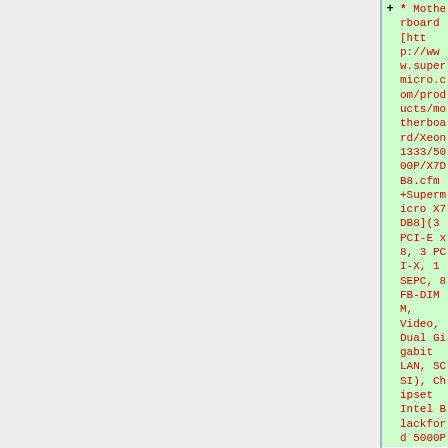* Motherboard [http://www.supermicro.com/products/motherboard/Xeon1333/5000P/X7DB8.cfm Supermicro X7DB8](3 PCI-E x8, 3 PCI-X, 1 SEPC, 8 FB-DIMM, Video, Dual Gigabit LAN, SCSI), Chipset Intel Blackford 5000P
* 8GB RAM ECC DDR2-667 (333 MHz)
* [http://www.wdc.com/en/products/Products.asp?DriveID=138 WD Caviar SE 120GB]
== QuadCore Xeon X3210 ==
[[Soubor:Braccia2.PN